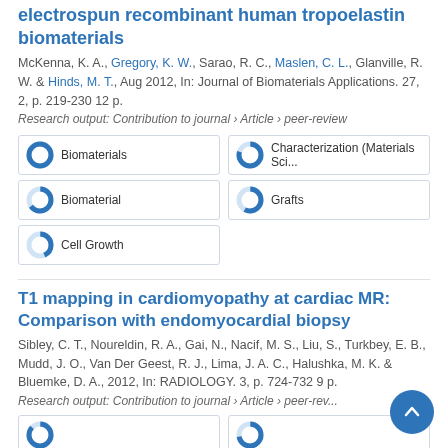electrospun recombinant human tropoelastin biomaterials
McKenna, K. A., Gregory, K. W., Sarao, R. C., Maslen, C. L., Glanville, R. W. & Hinds, M. T., Aug 2012, In: Journal of Biomaterials Applications. 27, 2, p. 219-230 12 p.
Research output: Contribution to journal › Article › peer-review
Biomaterials
Characterization (Materials Sci...
Biomaterial
Grafts
Cell Growth
T1 mapping in cardiomyopathy at cardiac MR: Comparison with endomyocardial biopsy
Sibley, C. T., Noureldin, R. A., Gai, N., Nacif, M. S., Liu, S., Turkbey, E. B., Mudd, J. O., Van Der Geest, R. J., Lima, J. A. C., Halushka, M. K. & Bluemke, D. A., 2012, In: RADIOLOGY. 3, p. 724-732 9 p.
Research output: Contribution to journal › Article › peer-review